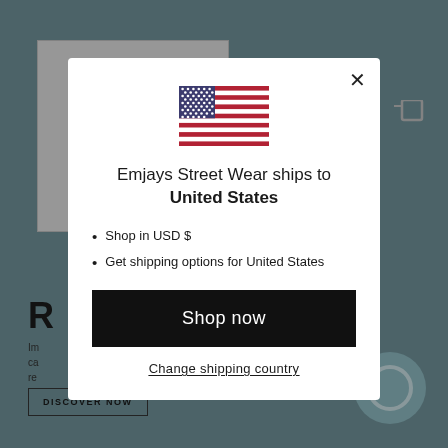[Figure (screenshot): Website background showing a streetwear brand page with teal/slate background, a logo placeholder, shopping cart icon, partial text starting with 'R', and a DISCOVER NOW button]
[Figure (illustration): US flag emoji/icon centered in the modal dialog]
Emjays Street Wear ships to United States
Shop in USD $
Get shipping options for United States
Shop now
Change shipping country